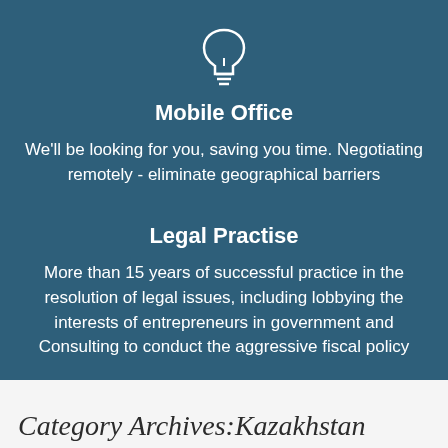[Figure (illustration): White lightbulb icon on blue-grey background]
Mobile Office
We'll be looking for you, saving you time. Negotiating remotely - eliminate geographical barriers
Legal Practise
More than 15 years of successful practice in the resolution of legal issues, including lobbying the interests of entrepreneurs in government and Consulting to conduct the aggressive fiscal policy
Category Archives:Kazakhstan